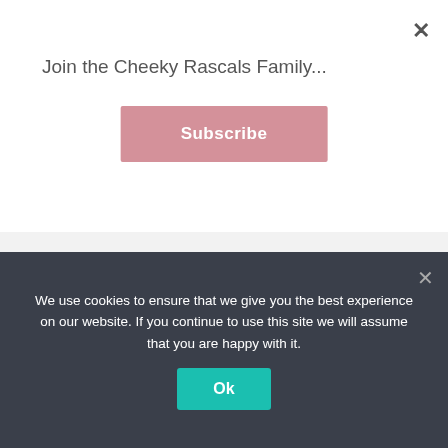Join the Cheeky Rascals Family...
Subscribe
FAQs
You may also like...
[Figure (photo): Product images including a dark pram liner and a white/fur stroller accessory]
We use cookies to ensure that we give you the best experience on our website. If you continue to use this site we will assume that you are happy with it.
Ok